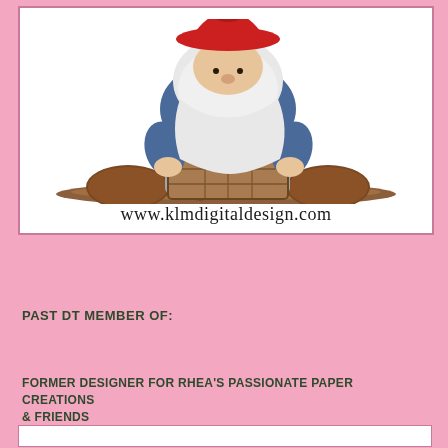[Figure (illustration): A cartoon gnome with a red hat and blue outfit sitting on the ground holding a wooden crate filled with red apples, with large round feet visible on either side]
www.klmdigitaldesign.com
PAST DT MEMBER OF:
FORMER DESIGNER FOR RHEA'S PASSIONATE PAPER CREATIONS & FRIENDS